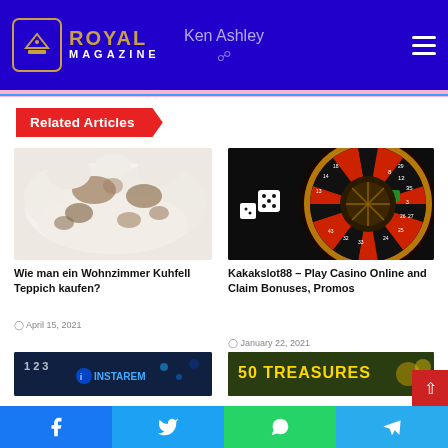Royal Magazine — Ken Ashley
Related Articles
[Figure (photo): Cowhide rug with brown and white spots on white background]
Wie man ein Wohnzimmer Kuhfell Teppich kaufen?
April 15, 2021
[Figure (photo): Roulette wheel close-up with dice, casino setting]
Kakakslot88 – Play Casino Online and Claim Bonuses, Promos
January 22, 2021
[Figure (photo): Bottom partial image: digital/fintech related with Instarem logo]
[Figure (photo): Bottom partial image: 50 Treasures casino game]